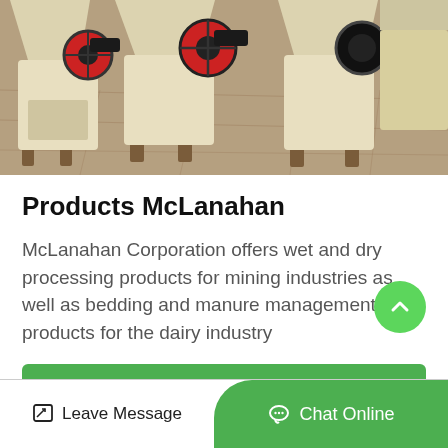[Figure (photo): Industrial crushing/mining machines (jaw crushers) in cream/beige color with red and black pulleys, arranged in a warehouse/factory floor setting.]
Products McLanahan
McLanahan Corporation offers wet and dry processing products for mining industries as well as bedding and manure management products for the dairy industry
Get Price
Leave Message
Chat Online